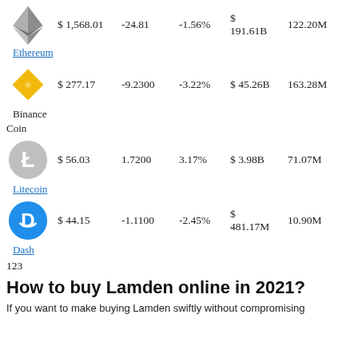| Icon | Name | Price | Change | % Change | Market Cap | Volume |
| --- | --- | --- | --- | --- | --- | --- |
| [Ethereum logo] | Ethereum | $ 1,568.01 | -24.81 | -1.56% | $ 191.61B | 122.20M |
| [Binance logo] | Binance Coin | $ 277.17 | -9.2300 | -3.22% | $ 45.26B | 163.28M |
| [Litecoin logo] | Litecoin | $ 56.03 | 1.7200 | 3.17% | $ 3.98B | 71.07M |
| [Dash logo] | Dash | $ 44.15 | -1.1100 | -2.45% | $ 481.17M | 10.90M |
123
How to buy Lamden online in 2021?
If you want to make buying Lamden swiftly without compromising